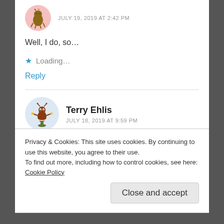JULY 19, 2019 AT 2:42 PM
Well, I do, so...
Loading...
Reply
Terry Ehlis
JULY 18, 2019 AT 9:59 PM
I love the thought process and research!
Privacy & Cookies: This site uses cookies. By continuing to use this website, you agree to their use.
To find out more, including how to control cookies, see here: Cookie Policy
Close and accept